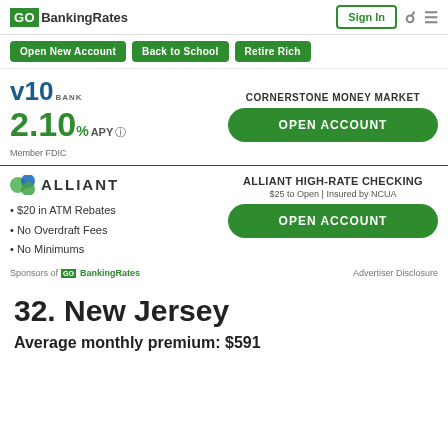GoBankingRates — Sign In
Open New Account | Back to School | Retire Rich
[Figure (other): VIO Bank ad — 2.10% APY, Cornerstone Money Market, Open Account button, Member FDIC]
[Figure (other): Alliant Credit Union ad — Alliant High-Rate Checking, $25 to Open, Insured by NCUA, $20 in ATM Rebates, No Overdraft Fees, No Minimums, Open Account button]
Sponsors of GoBankingRates    Advertiser Disclosure
32. New Jersey
Average monthly premium: $591